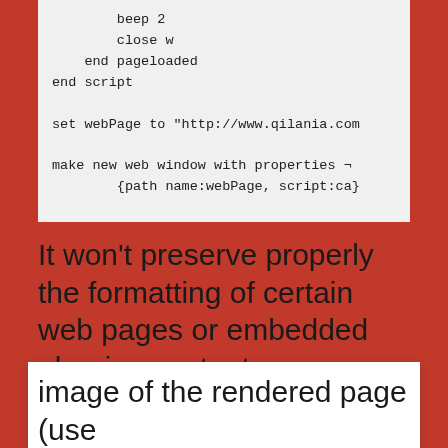beep 2
    close w
end pageloaded
end script

set webPage to "http://www.qilania.com

make new web window with properties ¬
        {path name:webPage, script:ca}
It won't preserve properly the formatting of certain web pages or embedded plug-ins contents,
Privacy & Cookies: This site uses cookies. By continuing to use this website, you agree to their use.
To find out more, including how to control cookies, see here: Cookie Policy
Close and accept
image of the rendered page (use